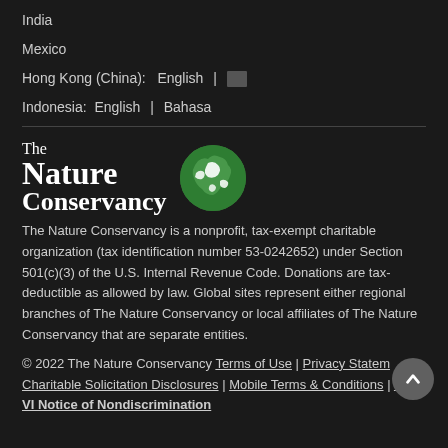India
Mexico
Hong Kong (China):  English | [Chinese]
Indonesia:  English | Bahasa
[Figure (logo): The Nature Conservancy logo with green globe]
The Nature Conservancy is a nonprofit, tax-exempt charitable organization (tax identification number 53-0242652) under Section 501(c)(3) of the U.S. Internal Revenue Code. Donations are tax-deductible as allowed by law. Global sites represent either regional branches of The Nature Conservancy or local affiliates of The Nature Conservancy that are separate entities.
© 2022 The Nature Conservancy Terms of Use | Privacy Statement | Charitable Solicitation Disclosures | Mobile Terms & Conditions | Title VI Notice of Nondiscrimination